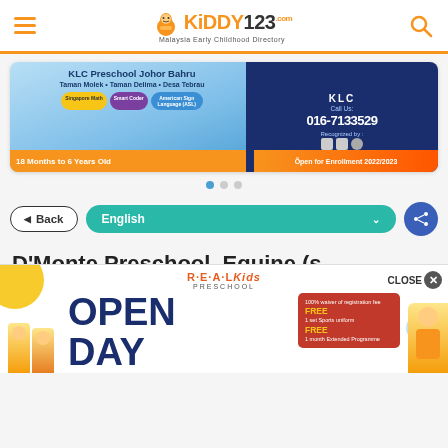Kiddy123.com — Malaysia Early Childhood Directory
[Figure (screenshot): KLC Preschool Johor Bahru advertisement banner: Taman Molek, Taman Delima, Desa Tebrau. Singapore Math, Smart Coder, American Sign Language. Call Us: 016-7133529. Recognized by emblems. 18 Months to 6 Years Old. Open for Enrollment 2022/2023.]
[Figure (screenshot): Carousel navigation dots — three dots, first one active (blue)]
◄ Back   English ∨
D'Monte Preschool, Equine (s
[Figure (screenshot): R·E·A·L Kids Preschool Open Day popup advertisement with CLOSE button. 100% waiver of registration fee, FREE 1 set sports uniform, FREE 1 month Extended Programme.]